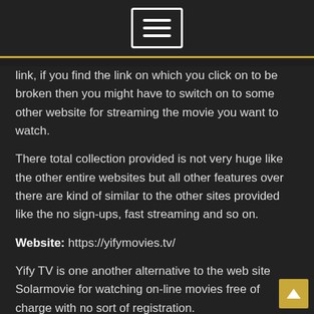☰
link, if you find the link on which you click on to be broken then you might have to switch on to some other website for streaming the movie you want to watch.
There total collection provided is not very huge like the other entire websites but all other features over there are kind of similar to the other sites provided like the no sign-ups, fast streaming and so on.
Website: https://yifymovies.tv/
Yify TV is one another alternative to the web site Solarmovie for watching on-line movies free of charge with no sort of registration.